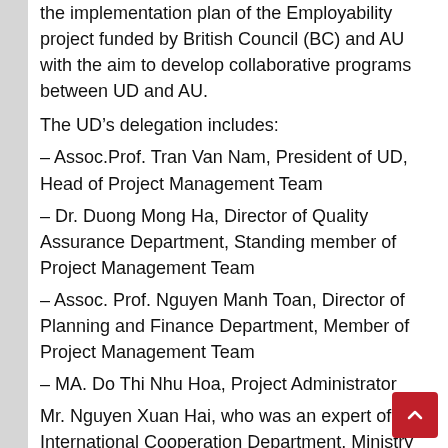the implementation plan of the Employability project funded by British Council (BC) and AU with the aim to develop collaborative programs between UD and AU.
The UD’s delegation includes:
– Assoc.Prof. Tran Van Nam, President of UD, Head of Project Management Team
– Dr. Duong Mong Ha, Director of Quality Assurance Department, Standing member of Project Management Team
– Assoc. Prof. Nguyen Manh Toan, Director of Planning and Finance Department, Member of Project Management Team
– MA. Do Thi Nhu Hoa, Project Administrator
Mr. Nguyen Xuan Hai, who was an expert of International Cooperation Department, Ministry of Education and Training (MOET), now is the